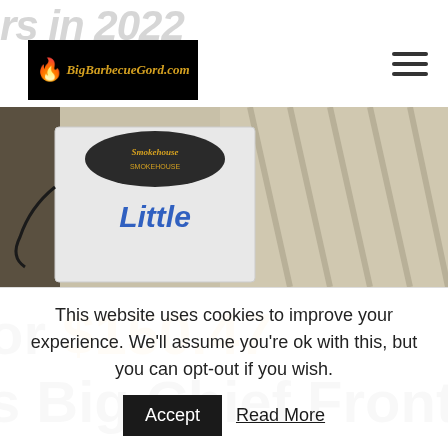rs in 2022
[Figure (photo): Photo of a Smokehouse brand electric smoker (Big Chief front load) with wood-paneled background]
or $150.47
s Big Chief Front
This website uses cookies to improve your experience. We'll assume you're ok with this, but you can opt-out if you wish.
Accept   Read More